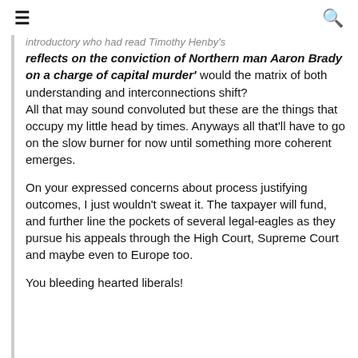≡   🔍
introductory who had read Timothy Henby's reflects on the conviction of Northern man Aaron Brady on a charge of capital murder' would the matrix of both understanding and interconnections shift?
All that may sound convoluted but these are the things that occupy my little head by times. Anyways all that'll have to go on the slow burner for now until something more coherent emerges.
On your expressed concerns about process justifying outcomes, I just wouldn't sweat it. The taxpayer will fund, and further line the pockets of several legal-eagles as they pursue his appeals through the High Court, Supreme Court and maybe even to Europe too.
You bleeding hearted liberals!